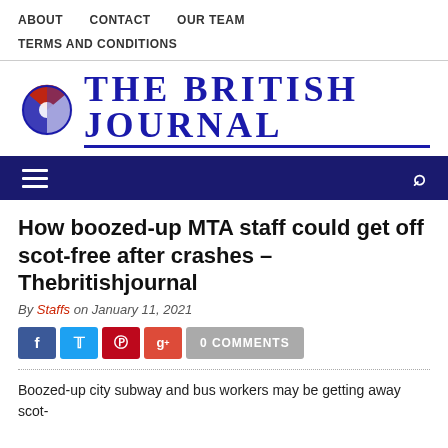ABOUT   CONTACT   OUR TEAM   TERMS AND CONDITIONS
[Figure (logo): The British Journal newspaper logo with circular flag icon and bold blue serif text]
[Figure (infographic): Dark blue navigation bar with hamburger menu icon on left and search icon on right]
How boozed-up MTA staff could get off scot-free after crashes – Thebritishjournal
By Staffs on January 11, 2021
0 COMMENTS
Boozed-up city subway and bus workers may be getting away scot-